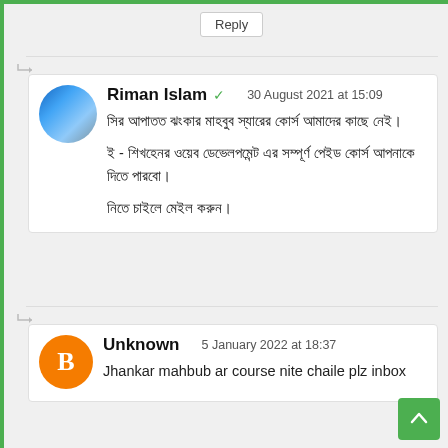Reply
Riman Islam ✓  30 August 2021 at 15:09
সির আপাতত ঝংকার মাহবুব স্যারের কোর্স আমাদের কাছে নেই।

ই - শিখহেনর ওয়েব ডেভেলপমেন্ট এর সম্পূর্ণ পেইড কোর্স আপনাকে দিতে পারবো।

নিতে চাইলে মেইল করুন।
Unknown  5 January 2022 at 18:37
Jhankar mahbub ar course nite chaile plz inbox